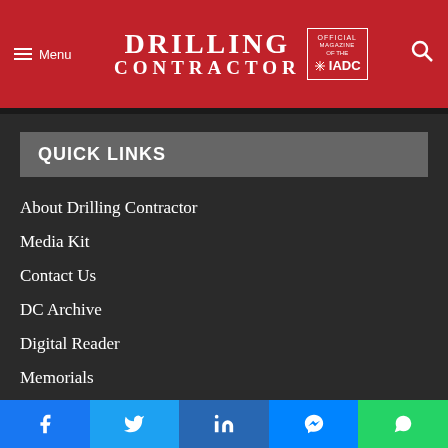Drilling Contractor — Official Magazine of the IADC
QUICK LINKS
About Drilling Contractor
Media Kit
Contact Us
DC Archive
Digital Reader
Memorials
Videos
Virtual Panel Discussions
Facebook | Twitter | LinkedIn | Messenger | WhatsApp